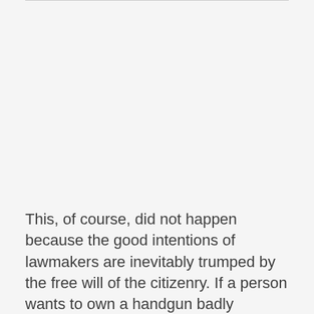This, of course, did not happen because the good intentions of lawmakers are inevitably trumped by the free will of the citizenry. If a person wants to own a handgun badly enough, then the person will do what is